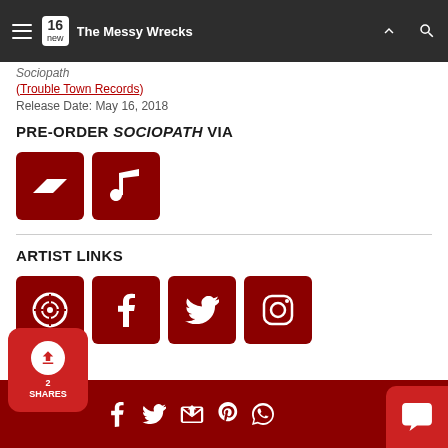The Messy Wrecks – 16 new
Sociopath
(Trouble Town Records)
Release Date: May 16, 2018
PRE-ORDER SOCIOPATH VIA
[Figure (other): Bandcamp icon button (dark red square with bc logo)]
[Figure (other): Music/iTunes icon button (dark red square with musical note)]
ARTIST LINKS
[Figure (other): Four social media icon buttons: CD/music site, Facebook, Twitter, Instagram]
[Figure (other): Bottom share bar with share count (2 SHARES), Facebook, Twitter, Email, Pinterest, WhatsApp share icons, and chat button]